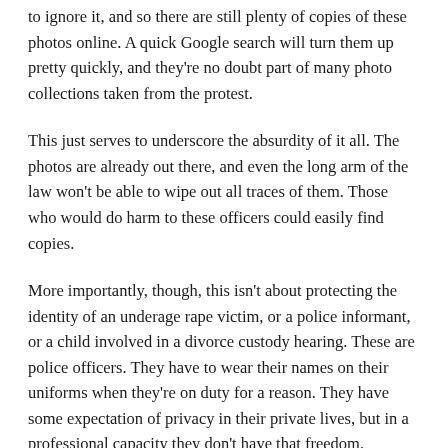to ignore it, and so there are still plenty of copies of these photos online. A quick Google search will turn them up pretty quickly, and they're no doubt part of many photo collections taken from the protest.
This just serves to underscore the absurdity of it all. The photos are already out there, and even the long arm of the law won't be able to wipe out all traces of them. Those who would do harm to these officers could easily find copies.
More importantly, though, this isn't about protecting the identity of an underage rape victim, or a police informant, or a child involved in a divorce custody hearing. These are police officers. They have to wear their names on their uniforms when they're on duty for a reason. They have some expectation of privacy in their private lives, but in a professional capacity they don't have that freedom.
Again, I have sympathy for the fear Lapointe and Pilote feel. But the photographers there are hardly what's wrong...